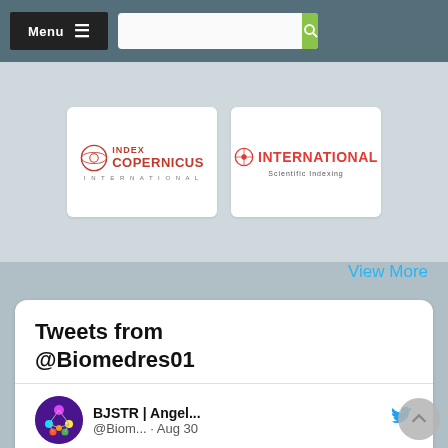Menu [navigation bar with search]
[Figure (logo): Index Copernicus International logo]
[Figure (logo): International Scientific Indexing logo]
View More
Tweets from @Biomedres01
BJSTR | Angel... @Biom... · Aug 30
Epidemiological, Characteristics and Outcomes of Road Traffic Accident Among Patients in Emergency Units by Ahmed Abdulhasan Hussein Alogaili in #BJSTR